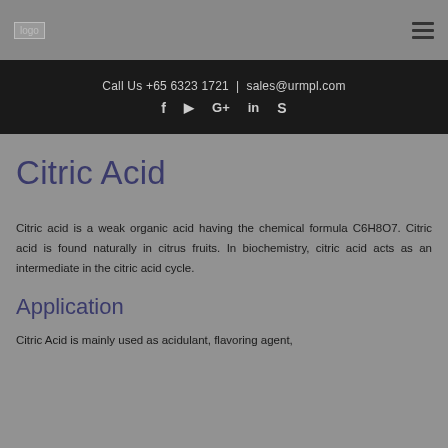[Figure (logo): Logo placeholder image in top-left navigation bar]
Call Us +65 6323 1721 | sales@urmpl.com
Citric Acid
Citric acid is a weak organic acid having the chemical formula C6H8O7. Citric acid is found naturally in citrus fruits. In biochemistry, citric acid acts as an intermediate in the citric acid cycle.
Application
Citric Acid is mainly used as acidulant, flavoring agent,